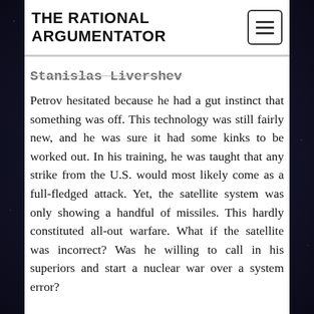THE RATIONAL ARGUMENTATOR
Stanislas Livershev
Petrov hesitated because he had a gut instinct that something was off. This technology was still fairly new, and he was sure it had some kinks to be worked out. In his training, he was taught that any strike from the U.S. would most likely come as a full-fledged attack. Yet, the satellite system was only showing a handful of missiles. This hardly constituted all-out warfare. What if the satellite was incorrect? Was he willing to call in his superiors and start a nuclear war over a system error?
On the other hand, if the monitors were correct, Petrov only had 20 minutes to act before the